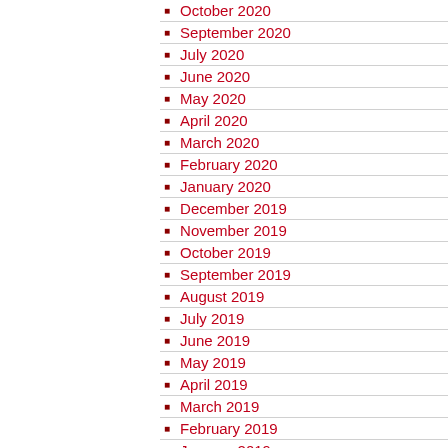October 2020
September 2020
July 2020
June 2020
May 2020
April 2020
March 2020
February 2020
January 2020
December 2019
November 2019
October 2019
September 2019
August 2019
July 2019
June 2019
May 2019
April 2019
March 2019
February 2019
January 2019